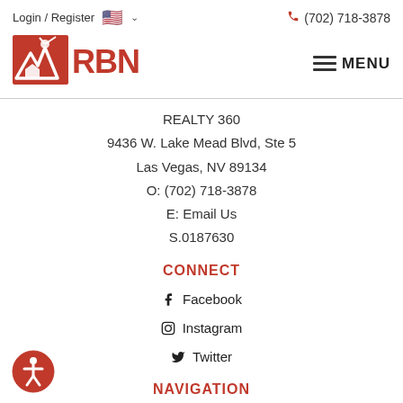Login / Register  🇺🇸 ∨    📞 (702) 718-3878
[Figure (logo): RBN RetireBetterNow.com logo in red with palm tree and house icon]
≡ MENU
REALTY 360
9436 W. Lake Mead Blvd, Ste 5
Las Vegas, NV 89134
O: (702) 718-3878
E: Email Us
S.0187630
CONNECT
f  Facebook
⊙  Instagram
🐦  Twitter
NAVIGATION